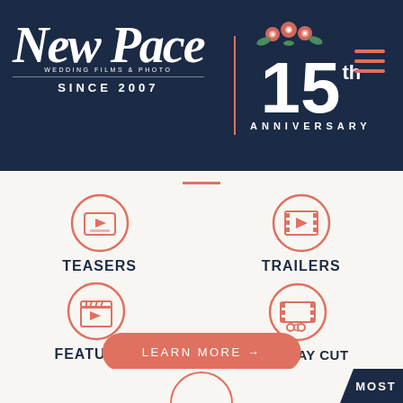[Figure (logo): New Pace Wedding Films & Photo logo with script text, 'Since 2007', 15th Anniversary badge with flowers, and hamburger menu icon on dark navy background]
[Figure (infographic): Four video service icons in a 2x2 grid: Teasers (video player icon), Trailers (film reel icon), Features (clapperboard icon), Full Day Cut (film scissors icon), all in coral/salmon color on white background with red accent line at top]
[Figure (other): Coral salmon rounded button with text 'LEARN MORE →']
[Figure (other): Bottom section with dark navy band and partial circular icon visible, with 'MOST' text badge on right]